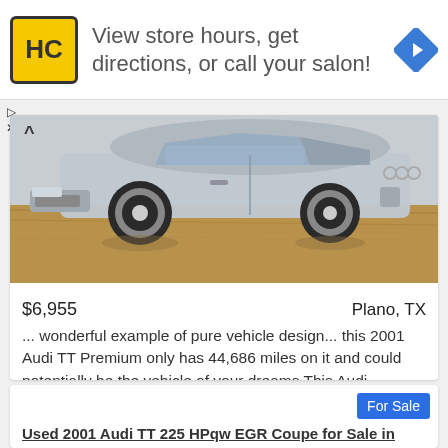[Figure (screenshot): Advertisement banner with HC logo (yellow square with HC letters), text 'View store hours, get directions, or call your salon!' and a blue diamond navigation arrow icon]
[Figure (photo): Silver Audi TT car photographed from the side/front angle, parked in a field with dry grass]
$6,955   Plano, TX
... wonderful example of pure vehicle design... this 2001 Audi TT Premium only has 44,686 miles on it and could potentially be the vehicle of your dreams This Audi includes AUDIO PKG CD Player CD Changer Premium Sound System HEATE
For Sale
Used 2001 Audi TT 225 HPqw EGR Coupe for Sale in